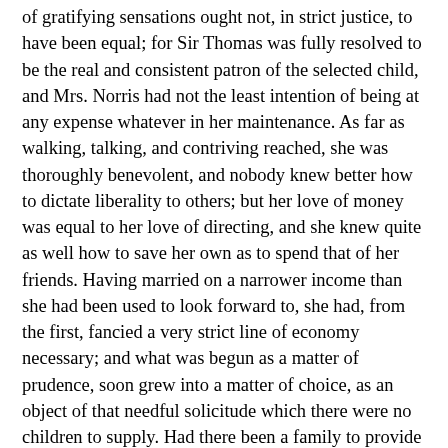of gratifying sensations ought not, in strict justice, to have been equal; for Sir Thomas was fully resolved to be the real and consistent patron of the selected child, and Mrs. Norris had not the least intention of being at any expense whatever in her maintenance. As far as walking, talking, and contriving reached, she was thoroughly benevolent, and nobody knew better how to dictate liberality to others; but her love of money was equal to her love of directing, and she knew quite as well how to save her own as to spend that of her friends. Having married on a narrower income than she had been used to look forward to, she had, from the first, fancied a very strict line of economy necessary; and what was begun as a matter of prudence, soon grew into a matter of choice, as an object of that needful solicitude which there were no children to supply. Had there been a family to provide for, Mrs. Norris might never have saved her money; but having no care of that kind, there was nothing to impede her frugality, or lessen the comfort of making a yearly addition to an income which they had never lived up to. Under this infatuating principle, counteracted by no real affection for her sister, it was impossible for her to aim at more than the credit of projecting and arranging so expensive a charity; though